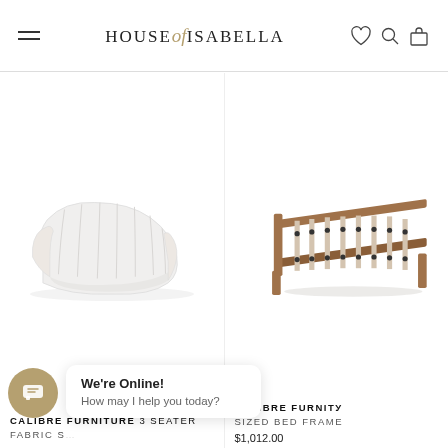HOUSE of ISABELLA
[Figure (photo): Calibre Furniture white curved 3-seater fabric sofa with channel tufting]
[Figure (photo): Calibre Furniture wooden bed frame, queen/king sized, with slatted base]
CALIBRE FURNITURE 3 SEATER FABRIC S...
CALIBRE FURNIТУ SIZED BED FRAME
$1,012.00
We're Online! How may I help you today?